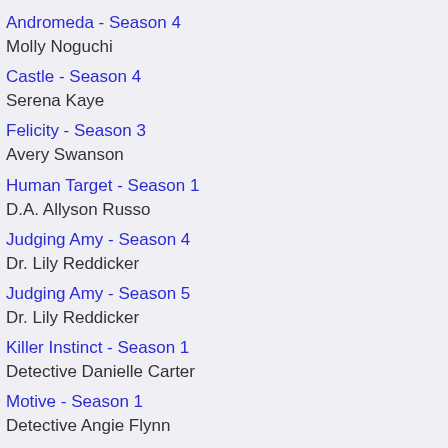Andromeda - Season 4
Molly Noguchi
Castle - Season 4
Serena Kaye
Felicity - Season 3
Avery Swanson
Human Target - Season 1
D.A. Allyson Russo
Judging Amy - Season 4
Dr. Lily Reddicker
Judging Amy - Season 5
Dr. Lily Reddicker
Killer Instinct - Season 1
Detective Danielle Carter
Motive - Season 1
Detective Angie Flynn
Motive - Season 2